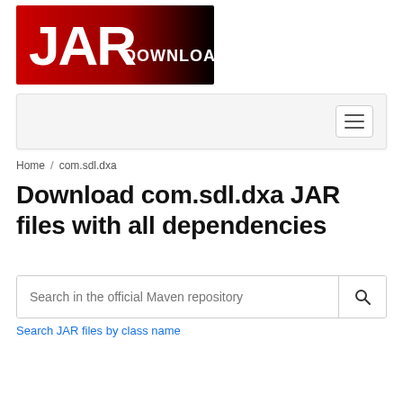[Figure (logo): JAR DOWNLOAD logo — red and black gradient background with large white 'JAR' text and smaller 'DOWNLOAD' text]
[Figure (screenshot): Navigation bar with hamburger menu button on the right]
Home / com.sdl.dxa
Download com.sdl.dxa JAR files with all dependencies
[Figure (screenshot): Search box with placeholder 'Search in the official Maven repository' and a search icon button]
Search JAR files by class name